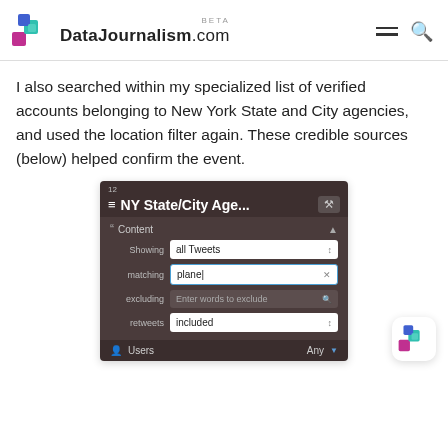DataJournalism.com BETA
I also searched within my specialized list of verified accounts belonging to New York State and City agencies, and used the location filter again. These credible sources (below) helped confirm the event.
[Figure (screenshot): TweetDeck column filter UI showing 'NY State/City Age...' list with Content filter options: Showing 'all Tweets', matching 'plane', excluding 'Enter words to exclude', retweets 'included'. Users section shows 'Any'.]